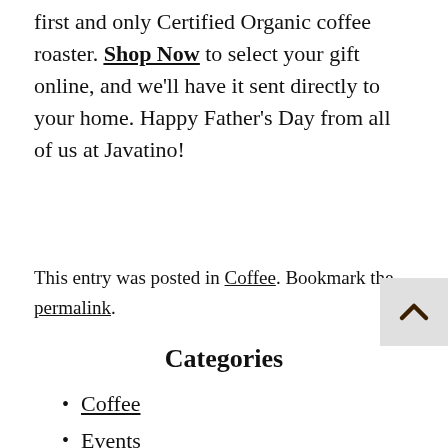first and only Certified Organic coffee roaster. Shop Now to select your gift online, and we'll have it sent directly to your home. Happy Father's Day from all of us at Javatino!
This entry was posted in Coffee. Bookmark the permalink.
Categories
Coffee
Events
Press Releases